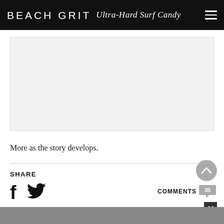BEACH GRIT Ultra-Hard Surf Candy
[Figure (other): Gray advertisement placeholder box]
More as the story develops.
SHARE
[Figure (other): Facebook and Twitter share icons, Comments button with count 35, scroll-to-top button, close button, gray footer bar]